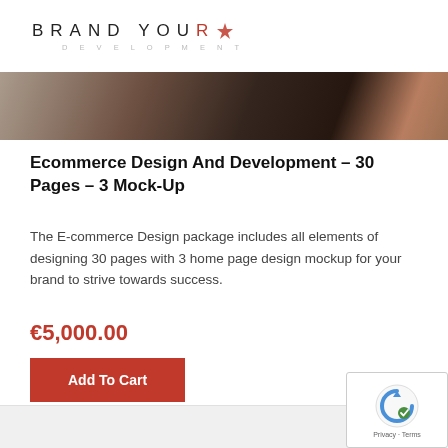[Figure (logo): Brand Your Development logo with stylized text]
[Figure (photo): Hero image showing hands holding a device, dark tones]
Ecommerce Design And Development – 30 Pages – 3 Mock-Up
The E-commerce Design package includes all elements of designing 30 pages with 3 home page design mockup for your brand to strive towards success.
€5,000.00
Add To Cart
[Figure (other): reCAPTCHA badge with Privacy and Terms links]